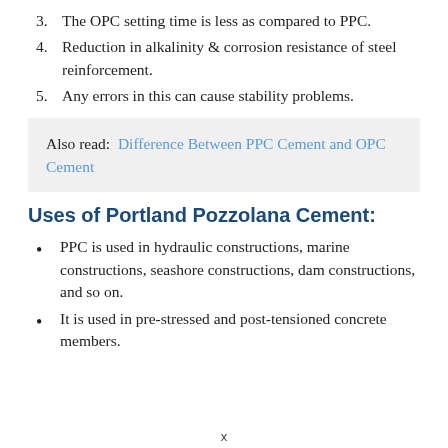3. The OPC setting time is less as compared to PPC.
4. Reduction in alkalinity & corrosion resistance of steel reinforcement.
5. Any errors in this can cause stability problems.
Also read:  Difference Between PPC Cement and OPC Cement
Uses of Portland Pozzolana Cement:
PPC is used in hydraulic constructions, marine constructions, seashore constructions, dam constructions, and so on.
It is used in pre-stressed and post-tensioned concrete members.
x